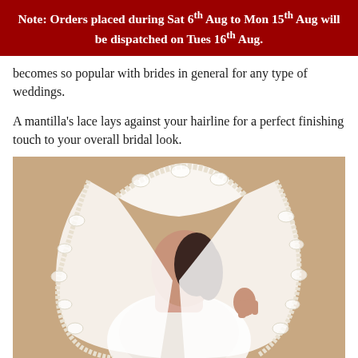Note: Orders placed during Sat 6th Aug to Mon 15th Aug will be dispatched on Tues 16th Aug.
becomes so popular with brides in general for any type of weddings.
A mantilla's lace lays against your hairline for a perfect finishing touch to your overall bridal look.
[Figure (photo): A bride wearing a white lace mantilla veil draped over her head, viewed from behind against a warm beige background. The veil features intricate lace trim along the edges.]